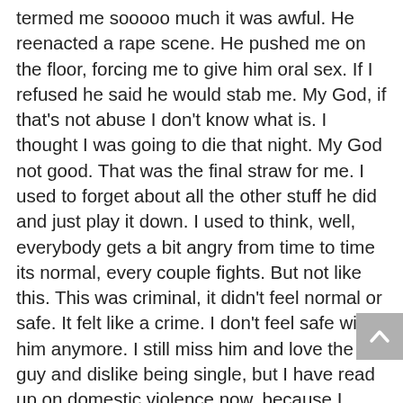termed me sooooo much it was awful. He reenacted a rape scene. He pushed me on the floor, forcing me to give him oral sex. If I refused he said he would stab me. My God, if that's not abuse I don't know what is. I thought I was going to die that night. My God not good. That was the final straw for me. I used to forget about all the other stuff he did and just play it down. I used to think, well, everybody gets a bit angry from time to time its normal, every couple fights. But not like this. This was criminal, it didn't feel normal or safe. It felt like a crime. I don't feel safe with him anymore. I still miss him and love the guy and dislike being single, but I have read up on domestic violence now, because I knew nothing about it before, that in fact in DOES GET WORSE. The abuser does not change. The only way you can change him is if you end the relationship. If you go back it just gives him permission to do it again to you. He can walk all over you then like a doormat. You are stronger than this. Don't let some bad man walk all over you. You deserve better. If you end it, he may realise what he has done and change. If he gets a new